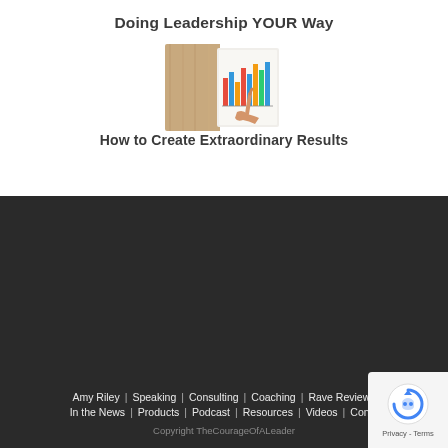Doing Leadership YOUR Way
[Figure (photo): A hand pointing at a bar chart on paper placed on a wooden surface]
How to Create Extraordinary Results
Amy Riley | Speaking | Consulting | Coaching | Rave Reviews | In the News | Products | Podcast | Resources | Videos | Contact
Copyright TheCourageOfALeader